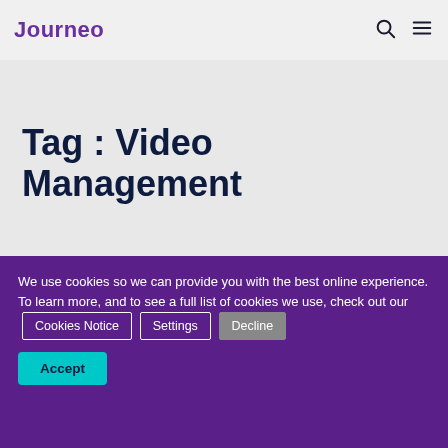Journeo
Tag : Video Management
We use cookies so we can provide you with the best online experience. To learn more, and to see a full list of cookies we use, check out our Cookies Notice Settings Decline Accept